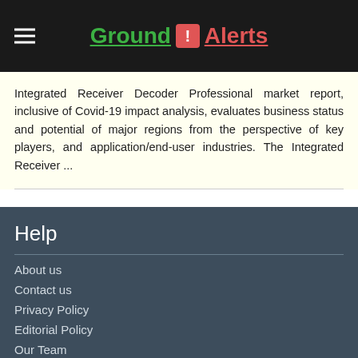Ground ! Alerts
Integrated Receiver Decoder Professional market report, inclusive of Covid-19 impact analysis, evaluates business status and potential of major regions from the perspective of key players, and application/end-user industries. The Integrated Receiver ...
Help
About us
Contact us
Privacy Policy
Editorial Policy
Our Team
Sitemap